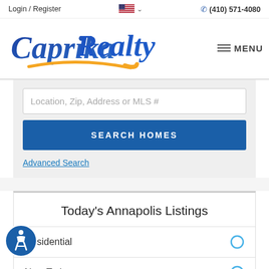Login / Register  (410) 571-4080
[Figure (logo): Caprika Realty logo in blue script lettering with gold/orange swoosh underline]
MENU
Location, Zip, Address or MLS #
SEARCH HOMES
Advanced Search
Today's Annapolis Listings
Residential
New Today